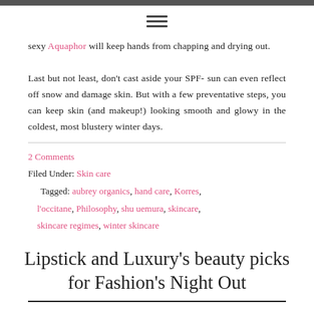☰
sexy Aquaphor will keep hands from chapping and drying out.

Last but not least, don't cast aside your SPF- sun can even reflect off snow and damage skin. But with a few preventative steps, you can keep skin (and makeup!) looking smooth and glowy in the coldest, most blustery winter days.
2 Comments
Filed Under: Skin care
Tagged: aubrey organics, hand care, Korres, l'occitane, Philosophy, shu uemura, skincare, skincare regimes, winter skincare
Lipstick and Luxury's beauty picks for Fashion's Night Out